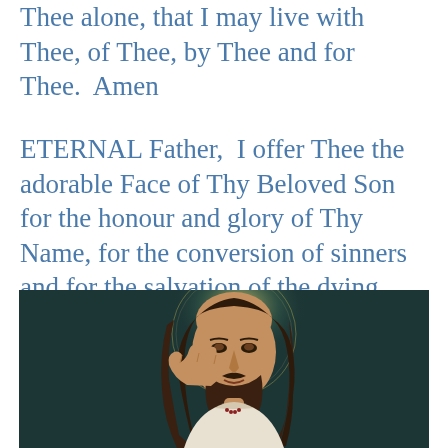Thee alone, that I may live with Thee, of Thee, by Thee and for Thee.  Amen
ETERNAL Father,  I offer Thee the adorable Face of Thy Beloved Son for the honour and glory of Thy Name, for the conversion of sinners and for the salvation of the dying.
[Figure (illustration): A classical painting/illustration of Jesus Christ with long brown hair and beard, right hand raised in blessing gesture, wearing white robes, with a golden halo behind his head, dark teal background]